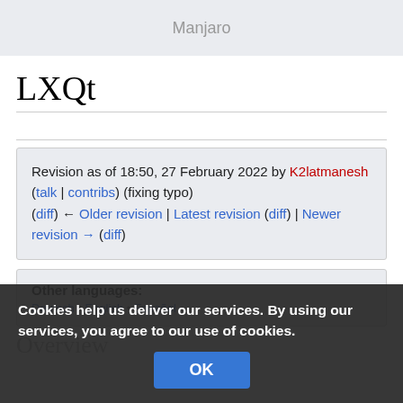Manjaro
LXQt
Revision as of 18:50, 27 February 2022 by K2latmanesh (talk | contribs) (fixing typo)
(diff) ← Older revision | Latest revision (diff) | Newer revision → (diff)
Other languages:
Cookies help us deliver our services. By using our services, you agree to our use of cookies.